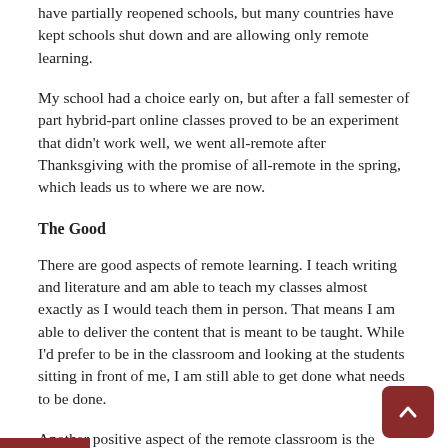have partially reopened schools, but many countries have kept schools shut down and are allowing only remote learning.
My school had a choice early on, but after a fall semester of part hybrid-part online classes proved to be an experiment that didn't work well, we went all-remote after Thanksgiving with the promise of all-remote in the spring, which leads us to where we are now.
The Good
There are good aspects of remote learning. I teach writing and literature and am able to teach my classes almost exactly as I would teach them in person. That means I am able to deliver the content that is meant to be taught. While I'd prefer to be in the classroom and looking at the students sitting in front of me, I am still able to get done what needs to be done.
Another positive aspect of the remote classroom is the students themselves. They are genial about the situation, show good humor, and have an interest in learning the material. If I did not have students who are open and willing to learn in the remote classroom,